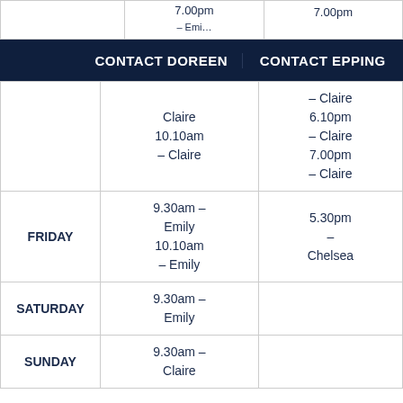|  | CONTACT DOREEN | CONTACT EPPING |
| --- | --- | --- |
|  | Claire 10.10am – Claire | – Claire 6.10pm – Claire 7.00pm – Claire |
| FRIDAY | 9.30am – Emily 10.10am – Emily | 5.30pm – Chelsea |
| SATURDAY | 9.30am – Emily |  |
| SUNDAY | 9.30am – Claire |  |